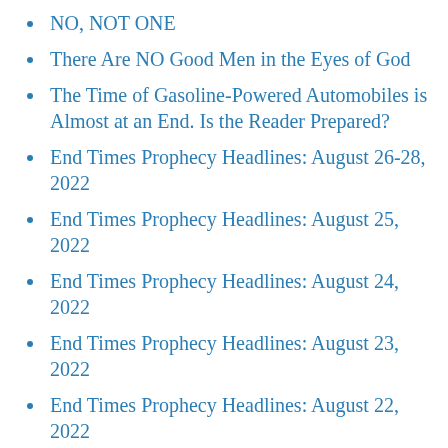NO, NOT ONE
There Are NO Good Men in the Eyes of God
The Time of Gasoline-Powered Automobiles is Almost at an End. Is the Reader Prepared?
End Times Prophecy Headlines: August 26-28, 2022
End Times Prophecy Headlines: August 25, 2022
End Times Prophecy Headlines: August 24, 2022
End Times Prophecy Headlines: August 23, 2022
End Times Prophecy Headlines: August 22, 2022
End Times Judgment
…